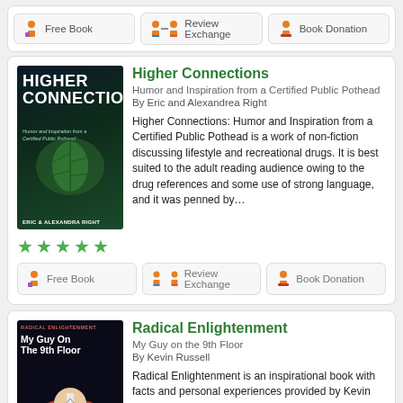[Figure (screenshot): Top navigation bar with three action buttons: Free Book, Review Exchange, Book Donation]
[Figure (screenshot): Book listing card for 'Higher Connections' by Eric and Alexandrea Right, with cover image, description, 5-star rating, and action buttons]
[Figure (screenshot): Book listing card for 'Radical Enlightenment: My Guy on the 9th Floor' by Kevin Russell, with cover image and partial description]